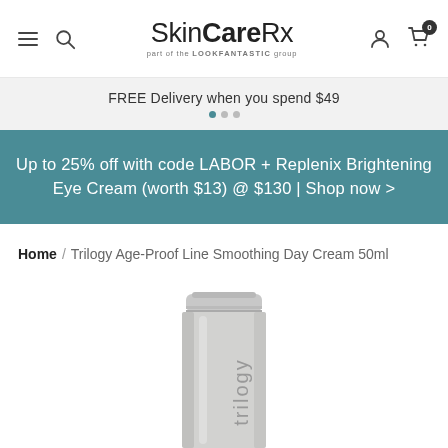SkinCareRx — part of the LOOKFANTASTIC group
FREE Delivery when you spend $49
Up to 25% off with code LABOR + Replenix Brightening Eye Cream (worth $13) @ $130 | Shop now >
Home / Trilogy Age-Proof Line Smoothing Day Cream 50ml
[Figure (photo): Trilogy skincare tube product on white background]